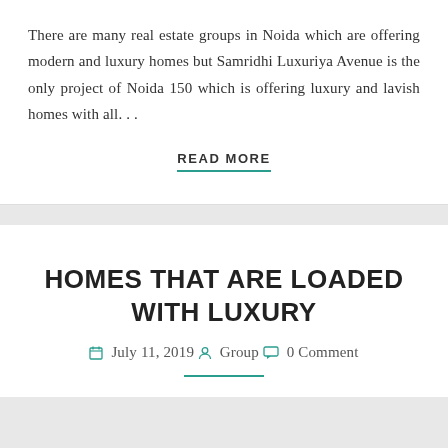There are many real estate groups in Noida which are offering modern and luxury homes but Samridhi Luxuriya Avenue is the only project of Noida 150 which is offering luxury and lavish homes with all...
READ MORE
HOMES THAT ARE LOADED WITH LUXURY
July 11, 2019  Group  0 Comment